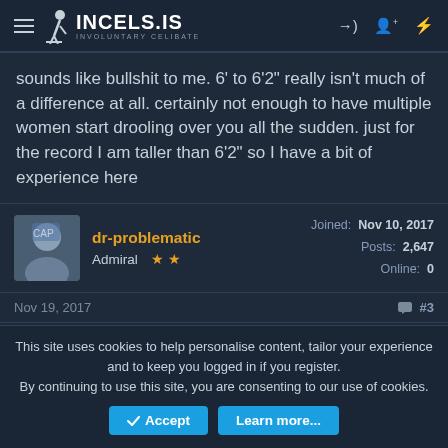INCELS.IS INVOLUNTARY CELIBATE
sounds like bullshit to me. 6' to 6'2" really isn't much of a difference at all. certainly not enough to have multiple women start drooling over you all the sudden. just for the record I am taller than 6'2" so I have a bit of experience here
dr-problematic
Admiral ★★
Joined: Nov 10, 2017
Posts: 2,647
Online: 0
Nov 19, 2017  #3
throwzo said:
This site uses cookies to help personalise content, tailor your experience and to keep you logged in if you register.
By continuing to use this site, you are consenting to our use of cookies.
Accept   Learn more...